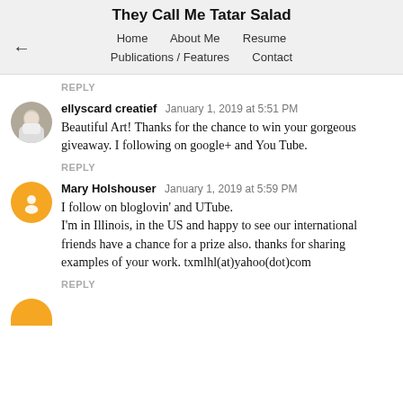They Call Me Tatar Salad
Home   About Me   Resume   Publications / Features   Contact
REPLY
ellyscard creatief  January 1, 2019 at 5:51 PM
Beautiful Art! Thanks for the chance to win your gorgeous giveaway. I following on google+ and You Tube.
REPLY
Mary Holshouser  January 1, 2019 at 5:59 PM
I follow on bloglovin' and UTube.
I'm in Illinois, in the US and happy to see our international friends have a chance for a prize also. thanks for sharing examples of your work. txmlhl(at)yahoo(dot)com
REPLY